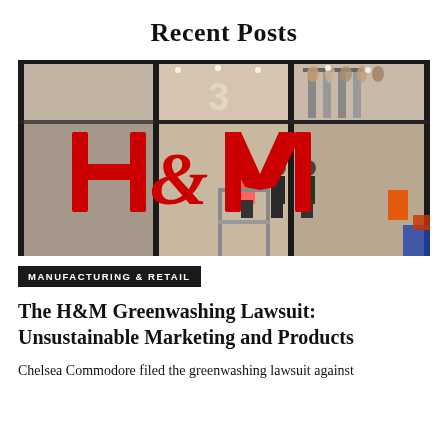Recent Posts
[Figure (photo): H&M store front with large red H&M logo on glass facade, shoppers visible inside the store]
MANUFACTURING & RETAIL
The H&M Greenwashing Lawsuit: Unsustainable Marketing and Products
Chelsea Commodore filed the greenwashing lawsuit against